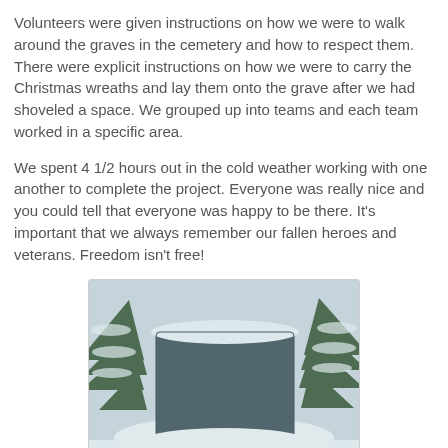Volunteers were given instructions on how we were to walk around the graves in the cemetery and how to respect them. There were explicit instructions on how we were to carry the Christmas wreaths and lay them onto the grave after we had shoveled a space. We grouped up into teams and each team worked in a specific area.
We spent 4 1/2 hours out in the cold weather working with one another to complete the project. Everyone was really nice and you could tell that everyone was happy to be there. It's important that we always remember our fallen heroes and veterans. Freedom isn't free!
[Figure (photo): Photo of a gravestone in a snowy cemetery surrounded by pine branches with snow on the ground]